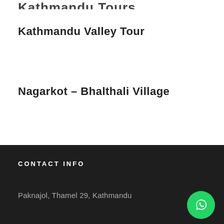Kathmandu Valley Tour
Nagarkot – Bhalthali Village
CONTACT INFO
Paknajol, Thamel 29, Kathmandu